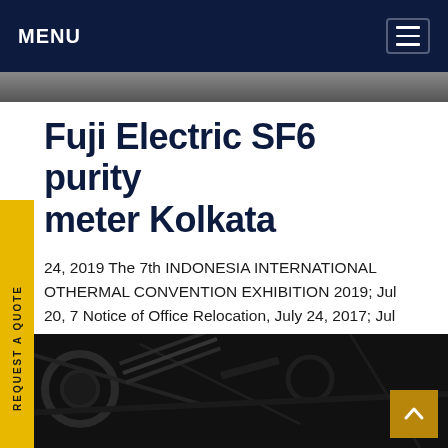MENU
Fuji Electric SF6 purity meter Kolkata
24, 2019 The 7th INDONESIA INTERNATIONAL OTHERMAL CONVENTION EXHIBITION 2019; Jul 20, 7 Notice of Office Relocation, July 24, 2017; Jul 20, 7 Exhibition at the INTERNATIONAL POWER PLANT NUFACTURING–AUTOMATION (POWERMAX) 2017; 16, 2015 Dear All Attendance of Fuji Electric ovation Forum 2015 IndonesiaGet price
[Figure (photo): Dark photo of mechanical/industrial equipment at bottom of page]